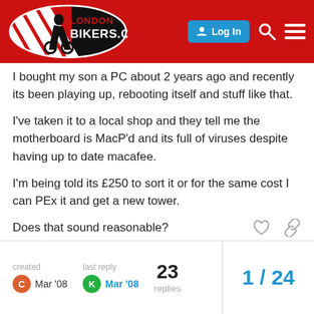LONDONBIKERS.COM — Log In
I bought my son a PC about 2 years ago and recently its been playing up, rebooting itself and stuff like that.
I've taken it to a local shop and they tell me the motherboard is MacP'd and its full of viruses despite having up to date macafee.
I'm being told its £250 to sort it or for the same cost I can PEx it and get a new tower.
Does that sound reasonable?
Your advice would be appreciated as I'm much better with nuts'n'bolts than megabites;)
created Mar '08 | last reply Mar '08 | 23 replies | 1 / 24